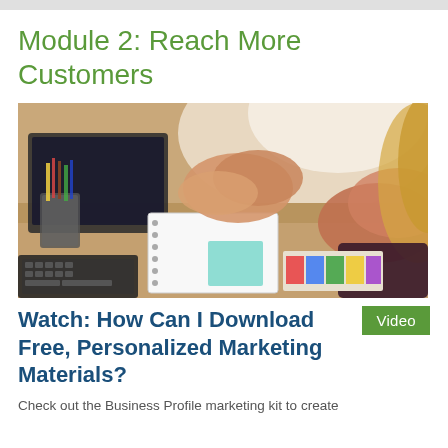Module 2: Reach More Customers
[Figure (photo): Two people working at a desk with laptops, notebooks, pencils in a cup, a keyboard, sticky notes, and color swatches — a creative workspace scene viewed from above/side angle.]
Watch: How Can I Download Free, Personalized Marketing Materials?
Check out the Business Profile marketing kit to create